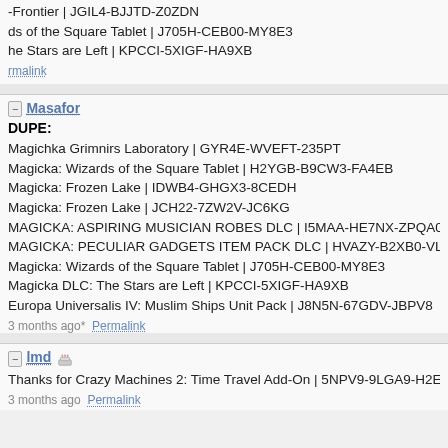-Frontier | JGIL4-BJJTD-Z0ZDN
ds of the Square Tablet | J705H-CEB00-MY8E3
he Stars are Left | KPCCI-5XIGF-HA9XB
rmalink
Masafor
DUPE:
Magichka Grimnirs Laboratory | GYR4E-WVEFT-235PT
Magicka: Wizards of the Square Tablet | H2YGB-B9CW3-FA4EB
Magicka: Frozen Lake | IDWB4-GHGX3-8CEDH
Magicka: Frozen Lake | JCH22-7ZW2V-JC6KG
MAGICKA: ASPIRING MUSICIAN ROBES DLC | I5MAA-HE7NX-ZPQA0
MAGICKA: PECULIAR GADGETS ITEM PACK DLC | HVAZY-B2XB0-VLLTW
Magicka: Wizards of the Square Tablet | J705H-CEB00-MY8E3
Magicka DLC: The Stars are Left | KPCCI-5XIGF-HA9XB
Europa Universalis IV: Muslim Ships Unit Pack | J8N5N-67GDV-JBPV8
3 months ago*  Permalink
lmd
Thanks for Crazy Machines 2: Time Travel Add-On | 5NPV9-9LGA9-H2E36 !
3 months ago  Permalink